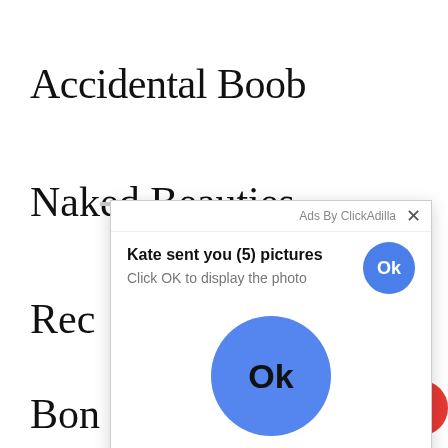Accidental Boob
Nak­­od Beauties
Rec
Bon
[Figure (screenshot): An ad popup overlay from ClickAdilla showing 'Kate sent you (5) pictures' with 'Click OK to display the photo' text, a small blue Ok button in the top right of the popup, and a large blue Ok button circle in the center of the popup. A close (X) button is in the top right corner.]